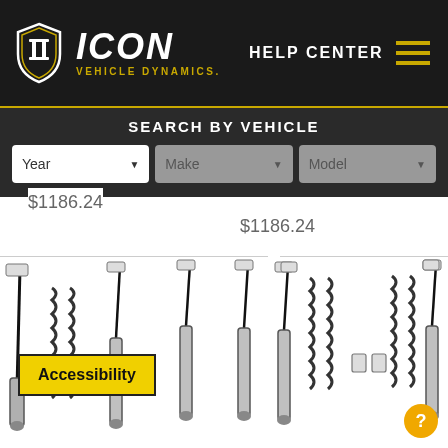ICON Vehicle Dynamics Help Center
SEARCH BY VEHICLE
$1186.24
$1186.24
[Figure (photo): Suspension kit components including shocks, coilover springs, and linkages - left product]
[Figure (photo): Suspension kit components including shocks, coilover springs, and linkages - right product]
Accessibility